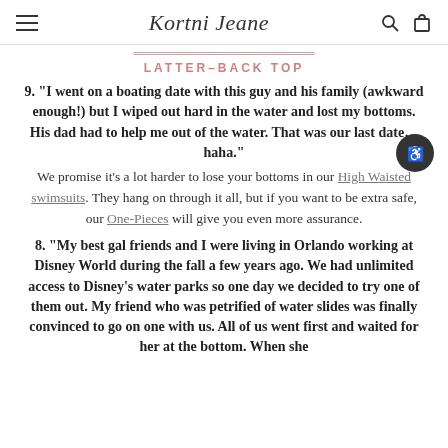Kortni Jeane
LATTER-BACK TOP
9. “I went on a boating date with this guy and his family (awkward enough!) but I wiped out hard in the water and lost my bottoms. His dad had to help me out of the water. That was our last date…haha.” We promise it’s a lot harder to lose your bottoms in our High Waisted swimsuits. They hang on through it all, but if you want to be extra safe, our One-Pieces will give you even more assurance.
8. “My best gal friends and I were living in Orlando working at Disney World during the fall a few years ago. We had unlimited access to Disney’s water parks so one day we decided to try one of them out. My friend who was petrified of water slides was finally convinced to go on one with us. All of us went first and waited for her at the bottom. When she